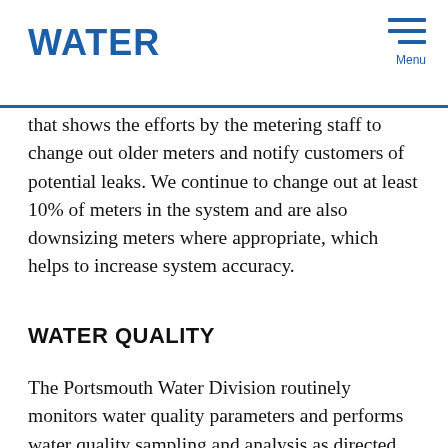WATER
that shows the efforts by the metering staff to change out older meters and notify customers of potential leaks. We continue to change out at least 10% of meters in the system and are also downsizing meters where appropriate, which helps to increase system accuracy.
WATER QUALITY
The Portsmouth Water Division routinely monitors water quality parameters and performs water quality sampling and analysis as directed by the Federal Safe Drinking Water Act and the New Hampshire Department of Environmental Services. Water sources are monitored for radioactive, biological, inorganic, volatile organic,